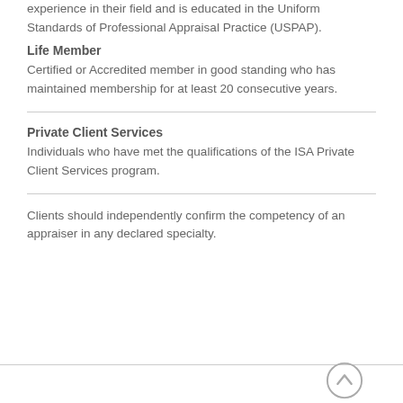experience in their field and is educated in the Uniform Standards of Professional Appraisal Practice (USPAP).
Life Member
Certified or Accredited member in good standing who has maintained membership for at least 20 consecutive years.
Private Client Services
Individuals who have met the qualifications of the ISA Private Client Services program.
Clients should independently confirm the competency of an appraiser in any declared specialty.
↑